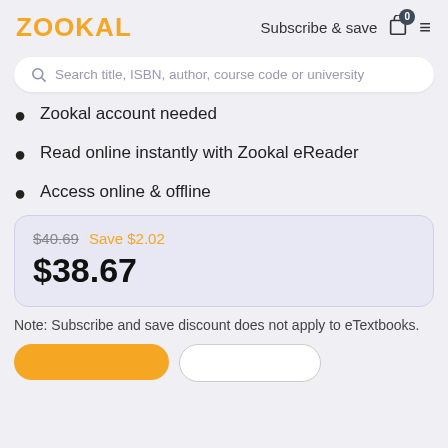ZOOKAL — Subscribe & save
Search title, ISBN, author, course code or university
Zookal account needed
Read online instantly with Zookal eReader
Access online & offline
$40.69  Save $2.02
$38.67
Note: Subscribe and save discount does not apply to eTextbooks.